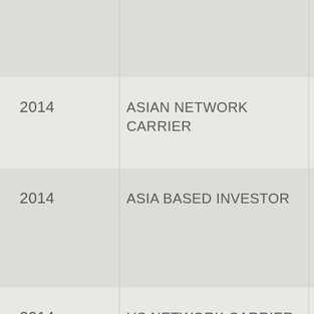| Year | Client | Description |
| --- | --- | --- |
|  |  | A330-900 AND 300 AIRCRAFT |
| 2014 | ASIAN NETWORK CARRIER | SOURCING OF AND ATR 42 L... |
| 2014 | ASIA BASED INVESTOR | ADVISORY ON POTENTIAL ACQUISITION PORTFOLIO OF AIRCRAFT |
| 2014 | US NETWORK CARRIER | SALE-LEASEBACK FINANCING FOR 737-900ER AND CRJ-900 AIRCRAFT |